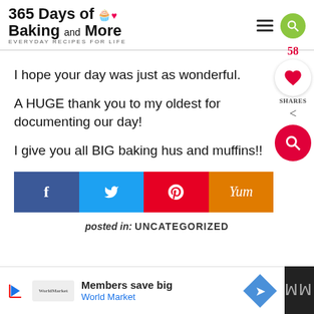365 Days of Baking and More — EVERYDAY RECIPES FOR LIFE
I hope your day was just as wonderful.
A HUGE thank you to my oldest for documenting our day!
I give you all BIG baking hus and muffins!!
[Figure (infographic): Social share buttons: Facebook, Twitter, Pinterest, Yummly; share count widget showing 58 shares with heart icon and search icon]
posted in: UNCATEGORIZED
[Figure (infographic): Advertisement bar: World Market Members save big ad with play button, logo, diamond arrow icon, and dark right panel with stylized text]